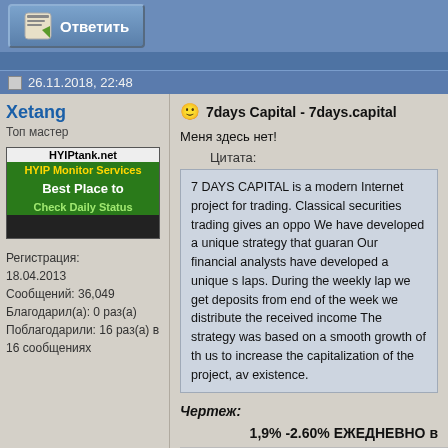Ответить
26.11.2018, 22:48
Xetang
Топ мастер
[Figure (screenshot): HYIPtank.net banner - HYIP Monitor Services Best Place to Check Daily Status]
Регистрация: 18.04.2013
Сообщений: 36,049
Благодарил(а): 0 раз(а)
Поблагодарили: 16 раз(а) в 16 сообщениях
7days Capital - 7days.capital
Меня здесь нет!
Цитата:
7 DAYS CAPITAL is a modern Internet project for trading. Classical securities trading gives an opportunity We have developed a unique strategy that guarantees Our financial analysts have developed a unique s laps. During the weekly lap we get deposits from end of the week we distribute the received income The strategy was based on a smooth growth of th us to increase the capitalization of the project, av existence.
Чертеж:
1,9% -2.60% ЕЖЕДНЕВНО в
[Figure (screenshot): 7days Capital promotional banner with purple/teal gradient background]